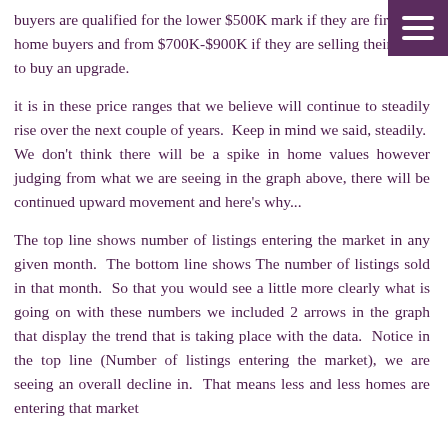buyers are qualified for the lower $500K mark if they are first time home buyers and from $700K-$900K if they are selling their home to buy an upgrade.
it is in these price ranges that we believe will continue to steadily rise over the next couple of years.  Keep in mind we said, steadily.  We don't think there will be a spike in home values however judging from what we are seeing in the graph above, there will be continued upward movement and here's why...
The top line shows number of listings entering the market in any given month.  The bottom line shows The number of listings sold in that month.  So that you would see a little more clearly what is going on with these numbers we included 2 arrows in the graph that display the trend that is taking place with the data.  Notice in the top line (Number of listings entering the market), we are seeing an overall decline in.  That means less and less homes are entering that market